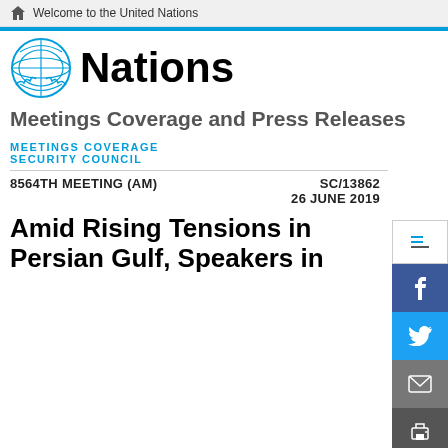Welcome to the United Nations
[Figure (logo): United Nations globe logo with laurel branches in blue]
Nations
Meetings Coverage and Press Releases
MEETINGS COVERAGE
SECURITY COUNCIL
8564TH MEETING (AM)    SC/13862
26 JUNE 2019
Amid Rising Tensions in Persian Gulf, Speakers in